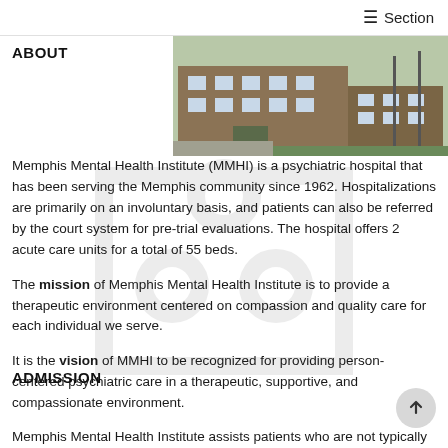≡ Section
ABOUT
[Figure (photo): Exterior photo of Memphis Mental Health Institute building with parking area and green lawn]
Memphis Mental Health Institute (MMHI) is a psychiatric hospital that has been serving the Memphis community since 1962. Hospitalizations are primarily on an involuntary basis, and patients can also be referred by the court system for pre-trial evaluations. The hospital offers 2 acute care units for a total of 55 beds.
The mission of Memphis Mental Health Institute is to provide a therapeutic environment centered on compassion and quality care for each individual we serve.
It is the vision of MMHI to be recognized for providing person-centered psychiatric care in a therapeutic, supportive, and compassionate environment.
ADMISSION
Memphis Mental Health Institute assists patients who are not typically